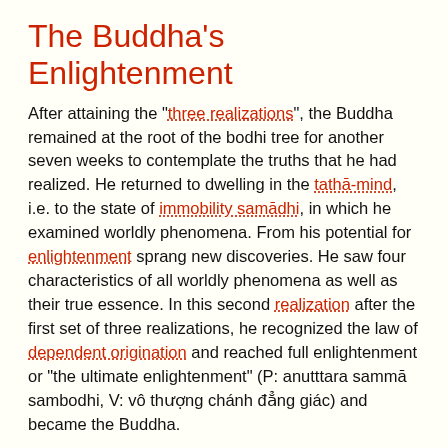The Buddha’s Enlightenment
After attaining the “three realizations”, the Buddha remained at the root of the bodhi tree for another seven weeks to contemplate the truths that he had realized. He returned to dwelling in the tathā-mind, i.e. to the state of immobility samādhi, in which he examined worldly phenomena. From his potential for enlightenment sprang new discoveries. He saw four characteristics of all worldly phenomena as well as their true essence. In this second realization after the first set of three realizations, he recognized the law of dependent origination and reached full enlightenment or “the ultimate enlightenment” (P: anutttara sammā sambodhi, V: vô thượng chánh đẳng giác) and became the Buddha.
The Law of Dependent Origination